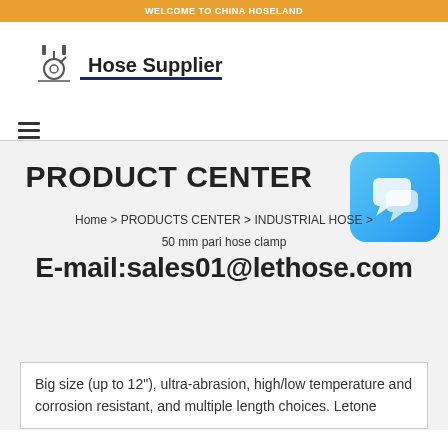WELCOME TO CHINA HOSELAND
[Figure (logo): Hose Supplier logo with mechanical icon and blue underline]
PRODUCT CENTER
Home > PRODUCTS CENTER > INDUSTRIAL HOSE > 50 mm pari hose clamp
E-mail:sales01@lethose.com
Big size (up to 12"), ultra-abrasion, high/low temperature and corrosion resistant, and multiple length choices. Letone